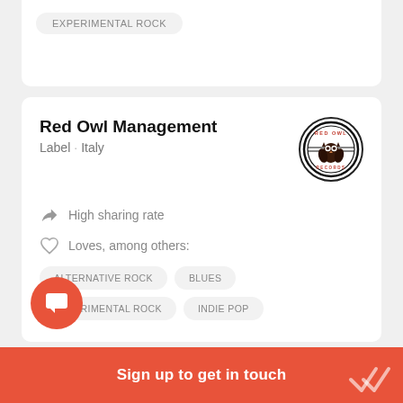EXPERIMENTAL ROCK
Red Owl Management
Label · Italy
[Figure (logo): Red Owl Records circular logo with owl graphic, black border, red text]
High sharing rate
Loves, among others:
ALTERNATIVE ROCK
BLUES
EXPERIMENTAL ROCK
INDIE POP
Sign up to get in touch